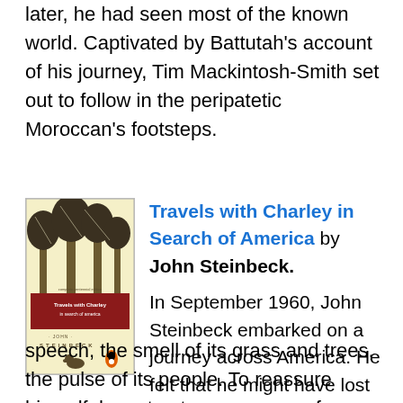later, he had seen most of the known world. Captivated by Battutah's account of his journey, Tim Mackintosh-Smith set out to follow in the peripatetic Moroccan's footsteps.
[Figure (illustration): Book cover of 'Travels with Charley in Search of America' by John Steinbeck. Yellow cover with illustration of trees and a dog at the bottom, text 'Travels with Charley in Search of America' on a red banner, author name John Steinbeck, Penguin paperback edition.]
Travels with Charley in Search of America by John Steinbeck.

In September 1960, John Steinbeck embarked on a journey across America. He felt that he might have lost touch with the country, with its speech, the smell of its grass and trees, the pulse of its people. To reassure himself, he set out on a voyage of rediscovery of the American identity,